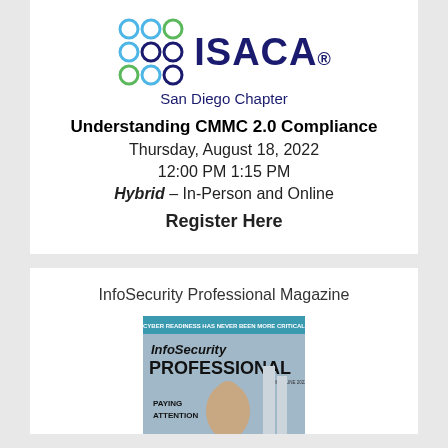[Figure (logo): ISACA San Diego Chapter logo with colorful circle icons and ISACA wordmark]
Understanding CMMC 2.0 Compliance
Thursday, August 18, 2022
12:00 PM 1:15 PM
Hybrid – In-Person and Online
Register Here
InfoSecurity Professional Magazine
[Figure (photo): Cover of InfoSecurity Professional Magazine showing a woman and the text PAYING ATTENTION]